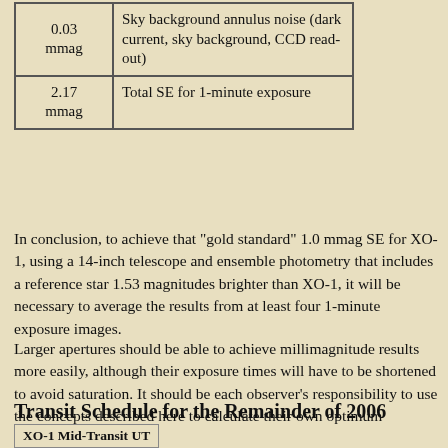| Value | Description |
| --- | --- |
| 0.03 mmag | Sky background annulus noise (dark current, sky background, CCD read-out) |
| 2.17 mmag | Total SE for 1-minute exposure |
In conclusion, to achieve that "gold standard" 1.0 mmag SE for XO-1, using a 14-inch telescope and ensemble photometry that includes a reference star 1.53 magnitudes brighter than XO-1, it will be necessary to average the results from at least four 1-minute exposure images.
Larger apertures should be able to achieve millimagnitude results more easily, although their exposure times will have to be shortened to avoid saturation. It should be each observer's responsibility to use the concepts described here to calculate their own optimum observing strategy.
Transit Schedule for the Remainder of 2006
| XO-1 Mid-Transit UT |
| --- |